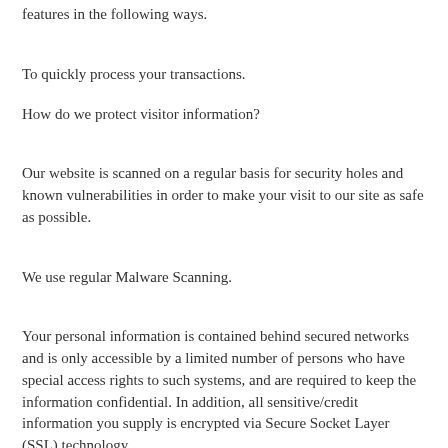features in the following ways:
To quickly process your transactions.
How do we protect visitor information?
Our website is scanned on a regular basis for security holes and known vulnerabilities in order to make your visit to our site as safe as possible.
We use regular Malware Scanning.
Your personal information is contained behind secured networks and is only accessible by a limited number of persons who have special access rights to such systems, and are required to keep the information confidential. In addition, all sensitive/credit information you supply is encrypted via Secure Socket Layer (SSL) technology.